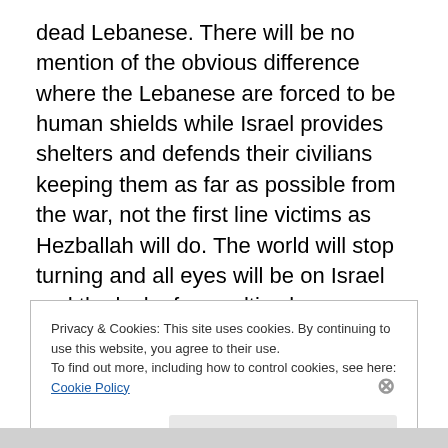dead Lebanese. There will be no mention of the obvious difference where the Lebanese are forced to be human shields while Israel provides shelters and defends their civilians keeping them as far as possible from the war, not the first line victims as Hezballah will do. The world will stop turning and all eyes will be on Israel and the lack of casualties by comparison and they will demand to know why so few Israelis have died, why so few, well, do we even need say it?
Privacy & Cookies: This site uses cookies. By continuing to use this website, you agree to their use.
To find out more, including how to control cookies, see here: Cookie Policy